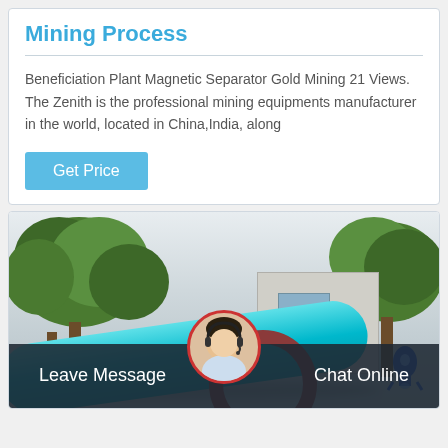Mining Process
Beneficiation Plant Magnetic Separator Gold Mining 21 Views. The Zenith is the professional mining equipments manufacturer in the world, located in China,India, along
Get Price
[Figure (photo): Industrial mining equipment showing large cyan/turquoise cylindrical pipes outdoors with trees and a building in the background. A rocket icon overlay appears in the bottom right. A chat widget with a customer service representative avatar is shown at the bottom with Leave Message and Chat Online buttons.]